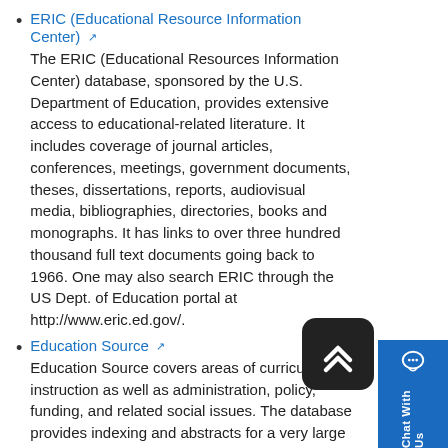ERIC (Educational Resource Information Center) - The ERIC (Educational Resources Information Center) database, sponsored by the U.S. Department of Education, provides extensive access to educational-related literature. It includes coverage of journal articles, conferences, meetings, government documents, theses, dissertations, reports, audiovisual media, bibliographies, directories, books and monographs. It has links to over three hundred thousand full text documents going back to 1966. One may also search ERIC through the US Dept. of Education portal at http://www.eric.ed.gov/.
Education Source - Education Source covers areas of curriculum instruction as well as administration, policy, funding, and related social issues. The database provides indexing and abstracts for a very large number of journals, as well as full text for over one thousand journals. Topics covered include all levels